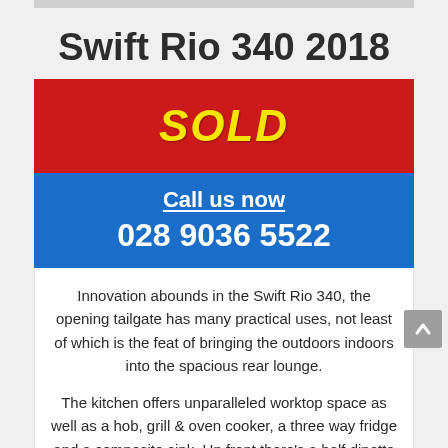Swift Rio 340 2018
SOLD
Call us now
028 9036 5522
Innovation abounds in the Swift Rio 340, the opening tailgate has many practical uses, not least of which is the feat of bringing the outdoors indoors into the spacious rear lounge.
The kitchen offers unparalleled worktop space as well as a hob, grill & oven cooker, a three way fridge and a composite sink. Up front there's a half dinette with two